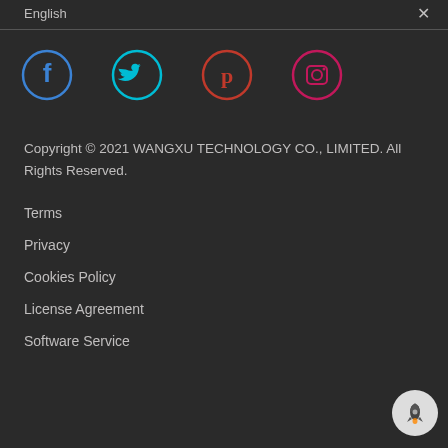English
[Figure (illustration): Four social media icons in circles: Facebook (blue circle), Twitter (cyan circle), Pinterest (red/orange circle), Instagram (pink/magenta circle)]
Copyright © 2021 WANGXU TECHNOLOGY CO., LIMITED. All Rights Reserved.
Terms
Privacy
Cookies Policy
License Agreement
Software Service